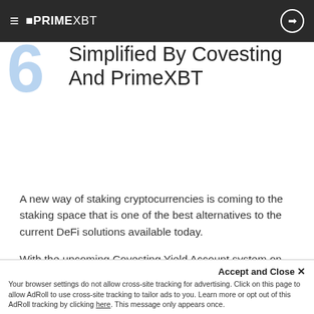PRIME XBT (logo/navigation bar)
Summary: Staking To Be Simplified By Covesting And PrimeXBT
A new way of staking cryptocurrencies is coming to the staking space that is one of the best alternatives to the current DeFi solutions available today.
With the upcoming Covesting Yield Account system on PrimeXBT, users can easily access APY generating tools from top DeFi protocols like Uniswap and PancakeSwap, all without having to connect their wallets to a
Accept and Close ✕ Your browser settings do not allow cross-site tracking for advertising. Click on this page to allow AdRoll to use cross-site tracking to tailor ads to you. Learn more or opt out of this AdRoll tracking by clicking here. This message only appears once.